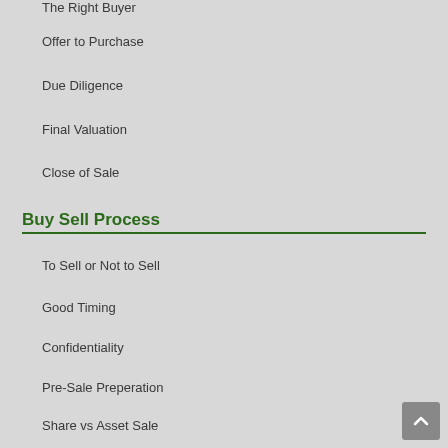The Right Buyer
Offer to Purchase
Due Diligence
Final Valuation
Close of Sale
Buy Sell Process
To Sell or Not to Sell
Good Timing
Confidentiality
Pre-Sale Preperation
Share vs Asset Sale